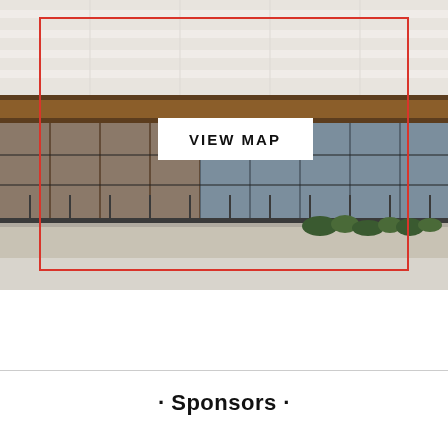[Figure (photo): Exterior photo of a modern building with large glass curtain wall facade, dark framing, a concrete planter with shrubs along the base, and outdoor seating visible inside. A red rectangular outline is overlaid on the image. A white button with 'VIEW MAP' text in bold is centered within the outlined area.]
· Sponsors ·